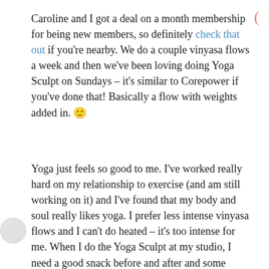Caroline and I got a deal on a month membership for being new members, so definitely check that out if you're nearby. We do a couple vinyasa flows a week and then we've been loving doing Yoga Sculpt on Sundays – it's similar to Corepower if you've done that! Basically a flow with weights added in. 🙂
Yoga just feels so good to me. I've worked really hard on my relationship to exercise (and am still working on it) and I've found that my body and soul really likes yoga. I prefer less intense vinyasa flows and I can't do heated – it's too intense for me. When I do the Yoga Sculpt at my studio, I need a good snack before and after and some gatorade because it is a bit more intense!